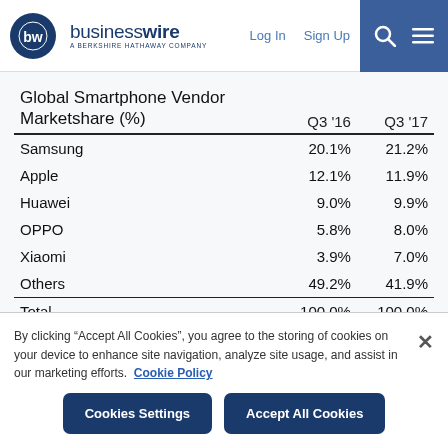businesswire — A Berkshire Hathaway Company | Log In | Sign Up
| Global Smartphone Vendor Marketshare (%) | Q3 '16 | Q3 '17 |
| --- | --- | --- |
| Samsung | 20.1% | 21.2% |
| Apple | 12.1% | 11.9% |
| Huawei | 9.0% | 9.9% |
| OPPO | 5.8% | 8.0% |
| Xiaomi | 3.9% | 7.0% |
| Others | 49.2% | 41.9% |
| Total | 100.0% | 100.0% |
By clicking “Accept All Cookies”, you agree to the storing of cookies on your device to enhance site navigation, analyze site usage, and assist in our marketing efforts. Cookie Policy
Cookies Settings | Accept All Cookies